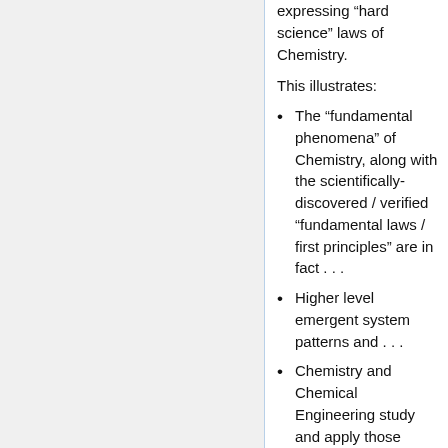expressing “hard science” laws of Chemistry.
This illustrates:
The “fundamental phenomena” of Chemistry, along with the scientifically-discovered / verified “fundamental laws / first principles” are in fact . . .
Higher level emergent system patterns and . . .
Chemistry and Chemical Engineering study and apply those